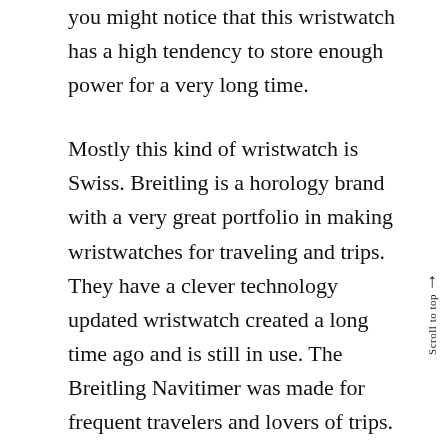you might notice that this wristwatch has a high tendency to store enough power for a very long time.
Mostly this kind of wristwatch is Swiss. Breitling is a horology brand with a very great portfolio in making wristwatches for traveling and trips. They have a clever technology updated wristwatch created a long time ago and is still in use. The Breitling Navitimer was made for frequent travelers and lovers of trips. It is the oldest Chronograph still in use at this moment. It provides a 24-hour indicator to keep you updated about the accurate time around you.